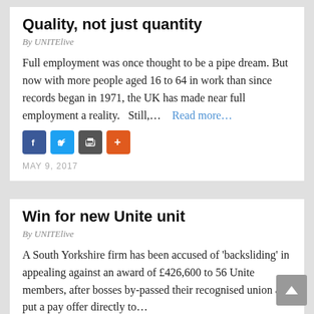Quality, not just quantity
By UNITElive
Full employment was once thought to be a pipe dream. But now with more people aged 16 to 64 in work than since records began in 1971, the UK has made near full employment a reality.   Still,…   Read more…
[Figure (other): Social sharing icons: Facebook, Twitter, Print, More (+)]
MAY 9, 2017
Win for new Unite unit
By UNITElive
A South Yorkshire firm has been accused of 'backsliding' in appealing against an award of £426,600 to 56 Unite members, after bosses by-passed their recognised union and put a pay offer directly to…
Read more…
[Figure (other): Social sharing icons: Facebook, Twitter, Print, More (+) — partial view at bottom]